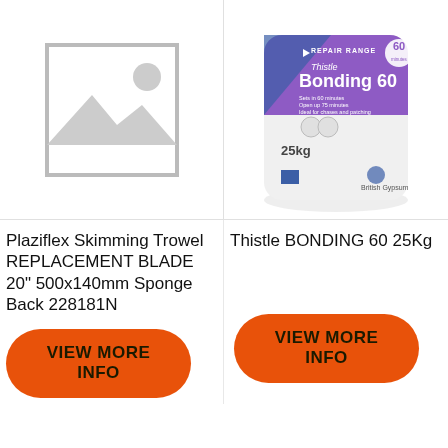[Figure (photo): Placeholder image for product with no photo — grey mountain/sun icon inside a bordered square]
[Figure (photo): Thistle Bonding 60 25kg bag by British Gypsum — white bag with purple/blue branding panel]
Plaziflex Skimming Trowel REPLACEMENT BLADE 20" 500x140mm Sponge Back 228181N
Thistle BONDING 60 25Kg
VIEW MORE INFO
VIEW MORE INFO